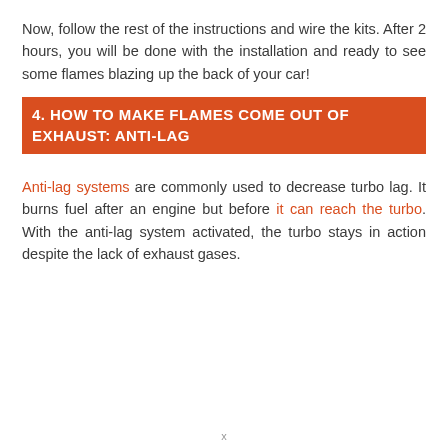Now, follow the rest of the instructions and wire the kits. After 2 hours, you will be done with the installation and ready to see some flames blazing up the back of your car!
4. HOW TO MAKE FLAMES COME OUT OF EXHAUST: ANTI-LAG
Anti-lag systems are commonly used to decrease turbo lag. It burns fuel after an engine but before it can reach the turbo. With the anti-lag system activated, the turbo stays in action despite the lack of exhaust gases.